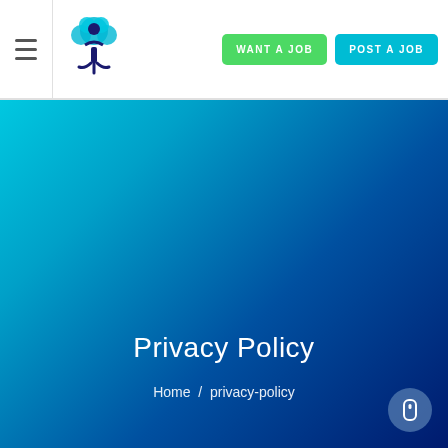WANT A JOB  POST A JOB
Privacy Policy
Home / privacy-policy